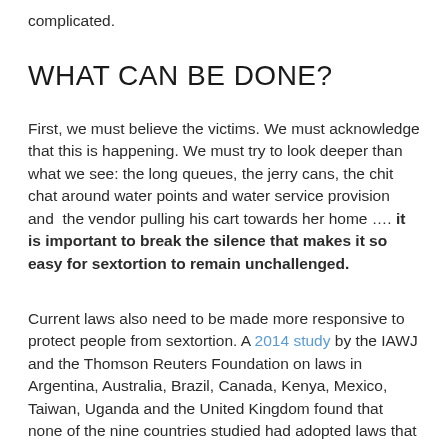complicated.
WHAT CAN BE DONE?
First, we must believe the victims. We must acknowledge that this is happening. We must try to look deeper than what we see: the long queues, the jerry cans, the chit chat around water points and water service provision and  the vendor pulling his cart towards her home …. it is important to break the silence that makes it so easy for sextortion to remain unchallenged.
Current laws also need to be made more responsive to protect people from sextortion. A 2014 study by the IAWJ and the Thomson Reuters Foundation on laws in Argentina, Australia, Brazil, Canada, Kenya, Mexico, Taiwan, Uganda and the United Kingdom found that none of the nine countries studied had adopted laws that refer to sextortion